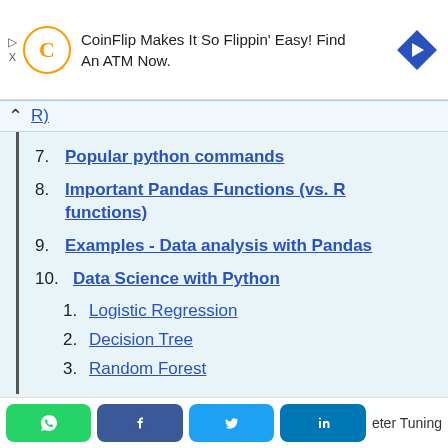[Figure (screenshot): CoinFlip advertisement banner with logo and navigation arrow]
R)
7. Popular python commands
8. Important Pandas Functions (vs. R functions)
9. Examples - Data analysis with Pandas
10. Data Science with Python
1. Logistic Regression
2. Decision Tree
3. Random Forest
[Figure (screenshot): Social share buttons: WhatsApp, Facebook, Twitter, LinkedIn and partial text 'eter Tuning']